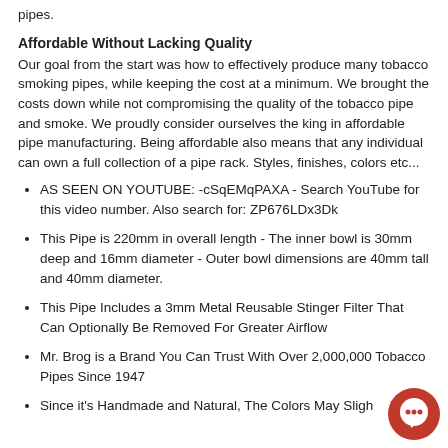pipes.
Affordable Without Lacking Quality
Our goal from the start was how to effectively produce many tobacco smoking pipes, while keeping the cost at a minimum. We brought the costs down while not compromising the quality of the tobacco pipe and smoke. We proudly consider ourselves the king in affordable pipe manufacturing. Being affordable also means that any individual can own a full collection of a pipe rack. Styles, finishes, colors etc...
AS SEEN ON YOUTUBE: -cSqEMqPAXA - Search YouTube for this video number. Also search for: ZP676LDx3Dk
This Pipe is 220mm in overall length - The inner bowl is 30mm deep and 16mm diameter - Outer bowl dimensions are 40mm tall and 40mm diameter.
This Pipe Includes a 3mm Metal Reusable Stinger Filter That Can Optionally Be Removed For Greater Airflow
Mr. Brog is a Brand You Can Trust With Over 2,000,000 Tobacco Pipes Since 1947
Since it's Handmade and Natural, The Colors May Slightly Vary